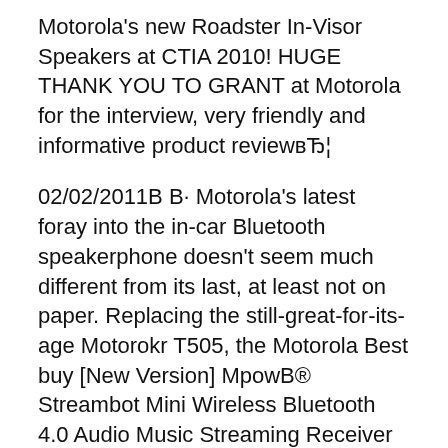Motorola's new Roadster In-Visor Speakers at CTIA 2010! HUGE THANK YOU TO GRANT at Motorola for the interview, very friendly and informative product reviewвЂ¦
02/02/2011В В· Motorola's latest foray into the in-car Bluetooth speakerphone doesn't seem much different from its last, at least not on paper. Replacing the still-great-for-its-age Motorokr T505, the Motorola Best buy [New Version] MpowВ® Streambot Mini Wireless Bluetooth 4.0 Audio Music Streaming Receiver Adapter with 3.5 mm Stereo Output and Hands Free Calling for Car
You can still…